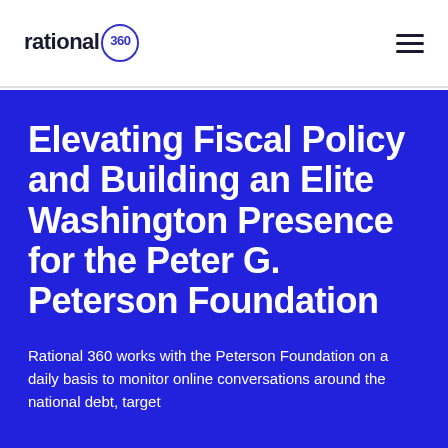[Figure (logo): Rational 360 logo: the word 'rational' in bold dark text followed by '360' inside a circular border, in navy/blue color scheme]
Elevating Fiscal Policy and Building an Elite Washington Presence for the Peter G. Peterson Foundation
Rational 360 works with the Peterson Foundation on a daily basis to monitor online conversations around the national debt, target